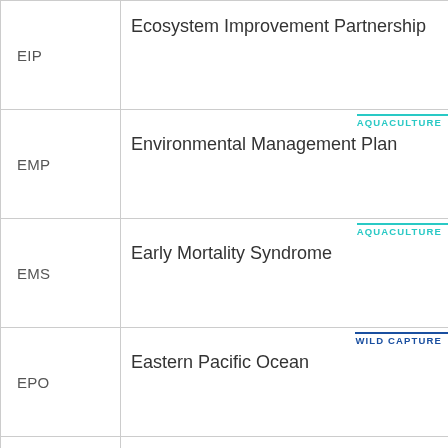| Abbreviation | Definition |
| --- | --- |
| EIP | Ecosystem Improvement Partnership |
| EMP | Environmental Management Plan [AQUACULTURE] |
| EMS | Early Mortality Syndrome [AQUACULTURE] |
| EPO | Eastern Pacific Ocean [WILD CAPTURE] |
| EPRBA | Evaluación de Proyectos, Recursos Bioacuá |
| EQS | Environmental Quality Standards [AQUACULTURE] |